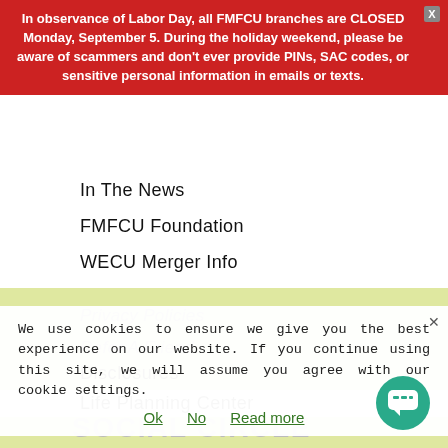In observance of Labor Day, all FMFCU branches are CLOSED Monday, September 5. During the holiday weekend, please be aware of scammers and don't ever provide PINs, SAC codes, or sensitive personal information in emails or texts.
In The News
FMFCU Foundation
WECU Merger Info
RESOURCES
Contact Us
Disclosures
Life Planning Center
Member Support
Privacy Policies
Refer A Friend
We use cookies to ensure we give you the best experience on our website. If you continue using this site, we will assume you agree with our cookie settings.
Ok   No   Read more
SOCIAL CIRCLE